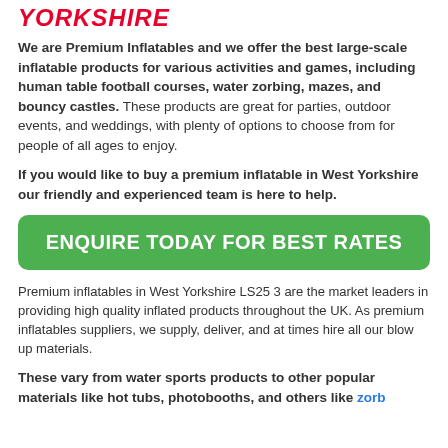YORKSHIRE
We are Premium Inflatables and we offer the best large-scale inflatable products for various activities and games, including human table football courses, water zorbing, mazes, and bouncy castles. These products are great for parties, outdoor events, and weddings, with plenty of options to choose from for people of all ages to enjoy.
If you would like to buy a premium inflatable in West Yorkshire our friendly and experienced team is here to help.
ENQUIRE TODAY FOR BEST RATES
Premium inflatables in West Yorkshire LS25 3 are the market leaders in providing high quality inflated products throughout the UK. As premium inflatables suppliers, we supply, deliver, and at times hire all our blow up materials.
These vary from water sports products to other popular materials like hot tubs, photobooths, and others like zorb